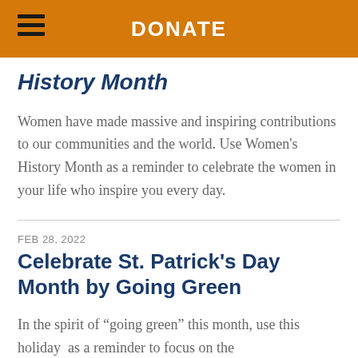DONATE
History Month
Women have made massive and inspiring contributions to our communities and the world. Use Women's History Month as a reminder to celebrate the women in your life who inspire you every day.
FEB 28, 2022
Celebrate St. Patrick's Day Month by Going Green
In the spirit of “going green” this month, use this holiday as a reminder to focus on the